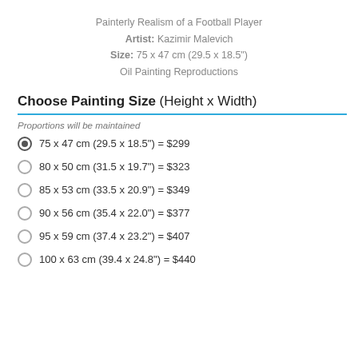Painterly Realism of a Football Player
Artist: Kazimir Malevich
Size: 75 x 47 cm (29.5 x 18.5")
Oil Painting Reproductions
Choose Painting Size (Height x Width)
Proportions will be maintained
75 x 47 cm (29.5 x 18.5") = $299
80 x 50 cm (31.5 x 19.7") = $323
85 x 53 cm (33.5 x 20.9") = $349
90 x 56 cm (35.4 x 22.0") = $377
95 x 59 cm (37.4 x 23.2") = $407
100 x 63 cm (39.4 x 24.8") = $440